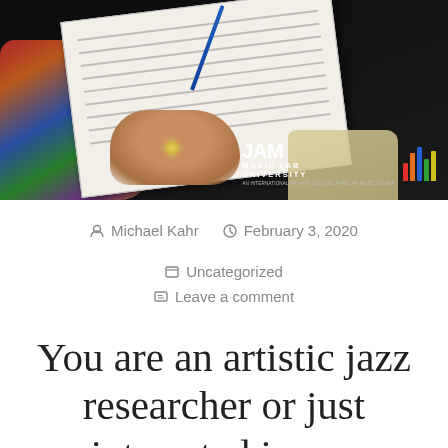[Figure (photo): Person writing in a notebook/sheet music with a blue pen, wearing a colorful floral jacket, with a ring on their finger. A JAM Music Lab University logo appears in the bottom right corner of the photo.]
By Michael Kahr   February 3, 2020   Uncategorized   Leave a comment
You are an artistic jazz researcher or just interested in our